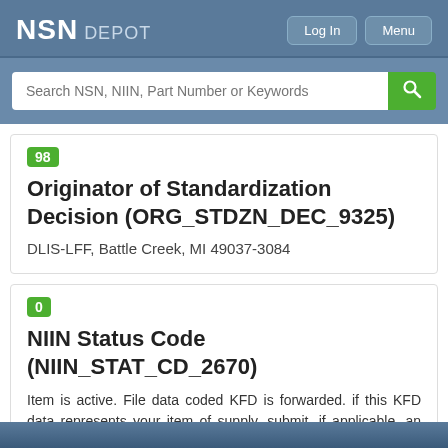NSN DEPOT
Search NSN, NIIN, Part Number or Keywords
98
Originator of Standardization Decision (ORG_STDZN_DEC_9325)
DLIS-LFF, Battle Creek, MI 49037-3084
0
NIIN Status Code (NIIN_STAT_CD_2670)
Item is active. File data coded KFD is forwarded. if this KFD data represents your item of supply, submit, if applicable, an IAD, IAU, or LCU